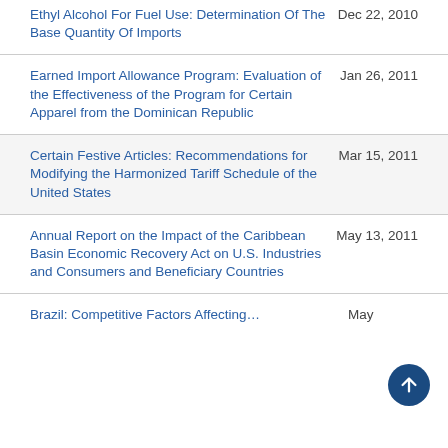Ethyl Alcohol For Fuel Use: Determination Of The Base Quantity Of Imports
Earned Import Allowance Program: Evaluation of the Effectiveness of the Program for Certain Apparel from the Dominican Republic
Certain Festive Articles: Recommendations for Modifying the Harmonized Tariff Schedule of the United States
Annual Report on the Impact of the Caribbean Basin Economic Recovery Act on U.S. Industries and Consumers and Beneficiary Countries
Brazil: Competitive Factors Affecting…